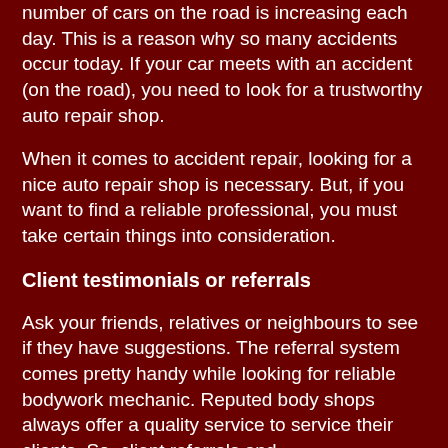number of cars on the road is increasing each day. This is a reason why so many accidents occur today. If your car meets with an accident (on the road), you need to look for a trustworthy auto repair shop.
When it comes to accident repair, looking for a nice auto repair shop is necessary. But, if you want to find a reliable professional, you must take certain things into consideration.
Client testimonials or referrals
Ask your friends, relatives or neighbours to see if they have suggestions. The referral system comes pretty handy while looking for reliable bodywork mechanic. Reputed body shops always offer a quality service to service their clients. So, client referrals and recommendations are extremely beneficial for finding a quality professional. If your friend or relative feels intent with a body shop, then you can certainly rely on its service quality.
You can also check a company's customer feedbacks. This will certainly give you a good idea about the company's credentials. You can check the company reputation on...